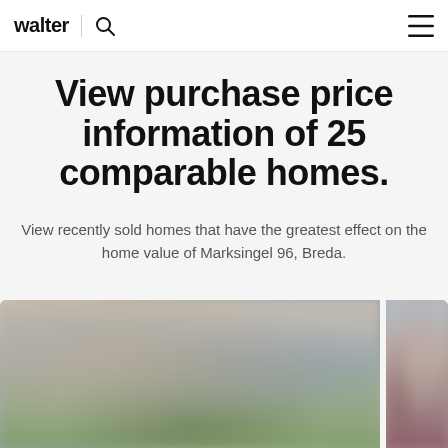walter
View purchase price information of 25 comparable homes.
View recently sold homes that have the greatest effect on the home value of Marksingel 96, Breda.
[Figure (photo): Blurred photo of residential homes/neighbourhood, left panel of two-panel image strip at bottom of page]
[Figure (photo): Blurred photo of residential homes/neighbourhood, right panel of two-panel image strip at bottom of page, partially visible]